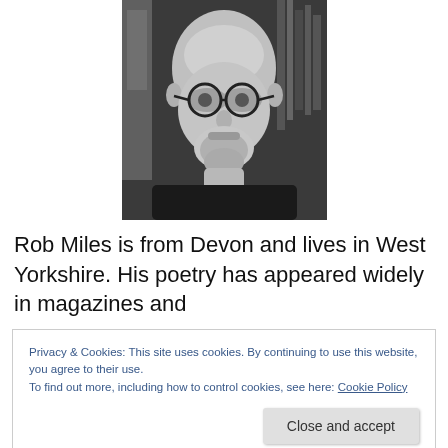[Figure (photo): Black and white portrait photo of a bald man with round glasses and a goatee beard, wearing a black shirt, with bookshelves visible in the background.]
Rob Miles is from Devon and lives in West Yorkshire. His poetry has appeared widely in magazines and
Privacy & Cookies: This site uses cookies. By continuing to use this website, you agree to their use.
To find out more, including how to control cookies, see here: Cookie Policy
Close and accept